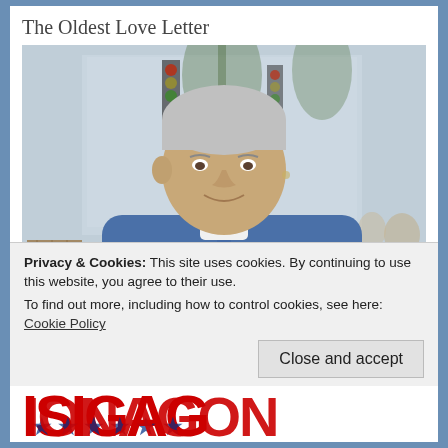The Oldest Love Letter
[Figure (photo): An elderly man with white/gray hair, wearing a blue denim shirt, sitting outdoors at a cafe/restaurant, holding up a glass of white wine toward the camera, smiling. Wicker chairs visible in background along with traffic lights, palm trees, and reflective glass storefront.]
Ghost Town Facebook Banned 1.2 billion Accounts
Privacy & Cookies: This site uses cookies. By continuing to use this website, you agree to their use.
To find out more, including how to control cookies, see here: Cookie Policy
Close and accept